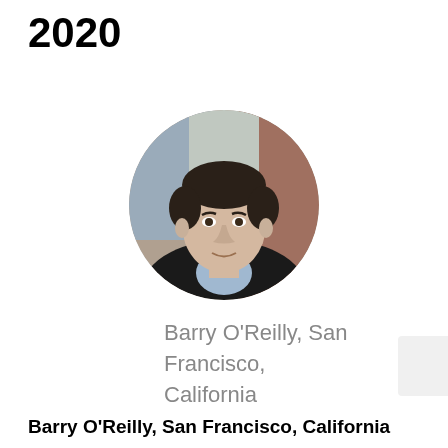2020
[Figure (photo): Circular headshot photo of Barry O'Reilly, a man with dark hair wearing a dark blazer and light blue shirt, photographed outdoors with blurred background]
Barry O'Reilly, San Francisco, California
Barry O'Reilly, San Francisco, California